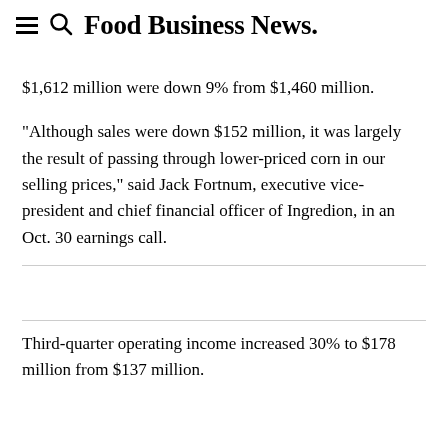Food Business News.
$1,612 million were down 9% from $1,460 million.
“Although sales were down $152 million, it was largely the result of passing through lower-priced corn in our selling prices,” said Jack Fortnum, executive vice-president and chief financial officer of Ingredion, in an Oct. 30 earnings call.
Third-quarter operating income increased 30% to $178 million from $137 million.